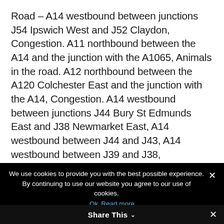Road – A14 westbound between junctions J54 Ipswich West and J52 Claydon, Congestion. A11 northbound between the A14 and the junction with the A1065, Animals in the road. A12 northbound between the A120 Colchester East and the junction with the A14, Congestion. A14 westbound between junctions J44 Bury St Edmunds East and J38 Newmarket East, A14 westbound between J44 and J43, A14 westbound between J39 and J38, Roadworks. A14 eastbound between
We use cookies to provide you with the best possible experience. By continuing to use our website you agree to our use of cookies. Ok Read more Share This ✕